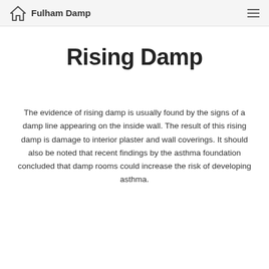Fulham Damp
Rising Damp
The evidence of rising damp is usually found by the signs of a damp line appearing on the inside wall. The result of this rising damp is damage to interior plaster and wall coverings. It should also be noted that recent findings by the asthma foundation concluded that damp rooms could increase the risk of developing asthma.